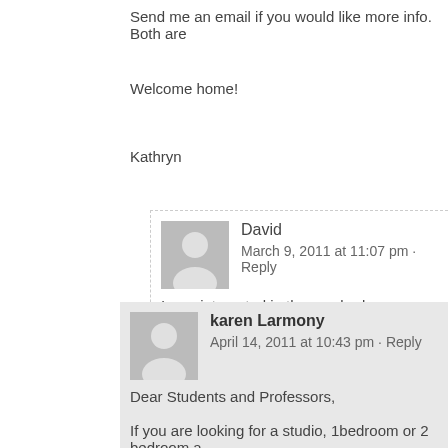Send me an email if you would like more info. Both are
Welcome home!
Kathryn
David
March 9, 2011 at 11:07 pm · Reply
I was interested in the one bedroom ap
Thank you.
karen Larmony
April 14, 2011 at 10:43 pm · Reply
Dear Students and Professors,
If you are looking for a studio, 1bedroom or 2 bedroom a
Karen 011 599 520-1402